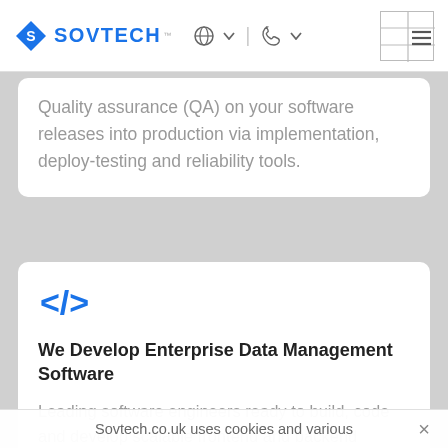SOVTECH
Quality assurance (QA) on your software releases into production via implementation, deploy-testing and reliability tools.
[Figure (illustration): Blue code bracket icon </> representing software development]
We Develop Enterprise Data Management Software
Leading software engineers ready to build, code and develop scalable frontend and backend
Sovtech.co.uk uses cookies and various  ×